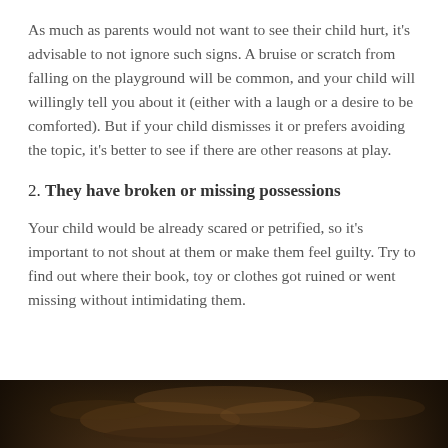As much as parents would not want to see their child hurt, it's advisable to not ignore such signs. A bruise or scratch from falling on the playground will be common, and your child will willingly tell you about it (either with a laugh or a desire to be comforted). But if your child dismisses it or prefers avoiding the topic, it's better to see if there are other reasons at play.
2. They have broken or missing possessions
Your child would be already scared or petrified, so it's important to not shout at them or make them feel guilty. Try to find out where their book, toy or clothes got ruined or went missing without intimidating them.
[Figure (photo): Partial bottom strip of a photo showing a blurred close-up of what appears to be a person or animal with dark fur/hair tones]